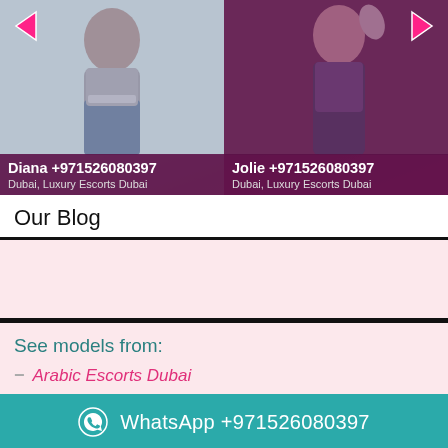[Figure (photo): Two escort profile cards side by side. Left card shows a woman in crop top and jeans with label 'Diana +971526080397, Dubai, Luxury Escorts Dubai'. Right card shows a woman in dark outfit with label 'Jolie +971526080397, Dubai, Luxury Escorts Dubai'. Pink navigation arrows visible.]
Our Blog
See models from:
Arabic Escorts Dubai
WhatsApp +971526080397
Labenese Escorts Dubai